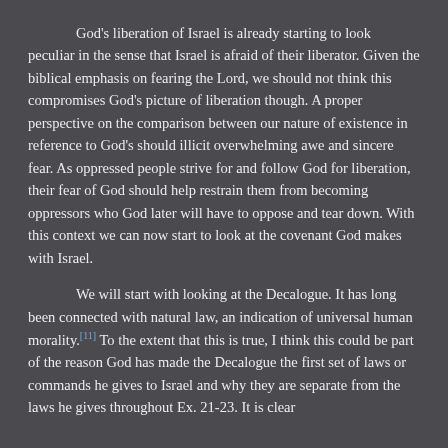God's liberation of Israel is already starting to look peculiar in the sense that Israel is afraid of their liberator.  Given the biblical emphasis on fearing the Lord, we should not think this compromises God's picture of liberation though.  A proper perspective on the comparison between our nature of existence in reference to God's should illicit overwhelming awe and sincere fear.  As oppressed people strive for and follow God for liberation, their fear of God should help restrain them from becoming oppressors who God later will have to oppose and tear down.  With this context we can now start to look at the covenant God makes with Israel.
We will start with looking at the Decalogue.  It has long been connected with natural law, an indication of universal human morality.[11]  To the extent that this is true, I think this could be part of the reason God has made the Decalogue the first set of laws or commands he gives to Israel and why they are separate from the laws he gives throughout Ex. 21-23.  It is clear